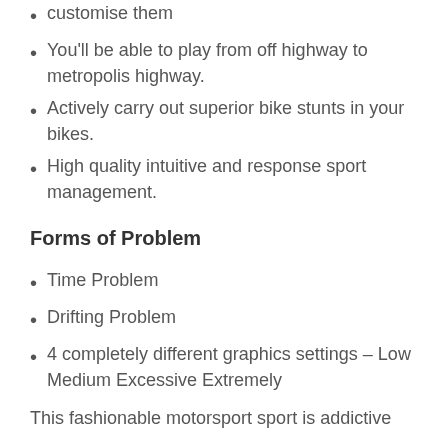customise them
You'll be able to play from off highway to metropolis highway.
Actively carry out superior bike stunts in your bikes.
High quality intuitive and response sport management.
Forms of Problem
Time Problem
Drifting Problem
4 completely different graphics settings – Low Medium Excessive Extremely
This fashionable motorsport sport is addictive